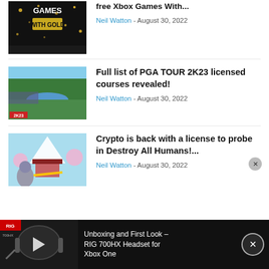[Figure (screenshot): Xbox Games With Gold logo thumbnail - dark background with golden stars]
free Xbox Games With...
Neil Watton - August 30, 2022
[Figure (screenshot): PGA TOUR 2K23 aerial view of golf course with crowd]
Full list of PGA TOUR 2K23 licensed courses revealed!
Neil Watton - August 30, 2022
[Figure (screenshot): Destroy All Humans game screenshot with alien robot shooting golden beam in colorful environment]
Crypto is back with a license to probe in Destroy All Humans!...
Neil Watton - August 30, 2022
[Figure (screenshot): RIG 700HX headset video thumbnail with play button]
Unboxing and First Look – RIG 700HX Headset for Xbox One